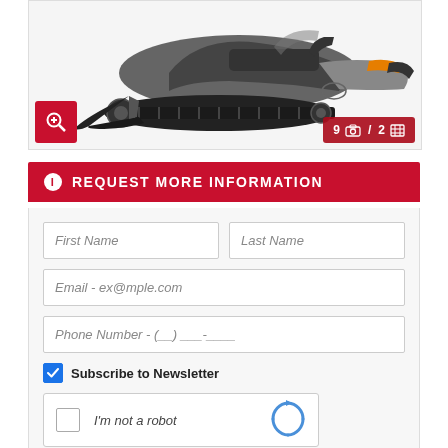[Figure (photo): Side view of a black snowmobile with rubber track and ski runners on a white background]
REQUEST MORE INFORMATION
First Name
Last Name
Email - ex@mple.com
Phone Number - (__)___-____
Subscribe to Newsletter
[Figure (screenshot): reCAPTCHA widget with checkbox and 'I'm not a robot' text]